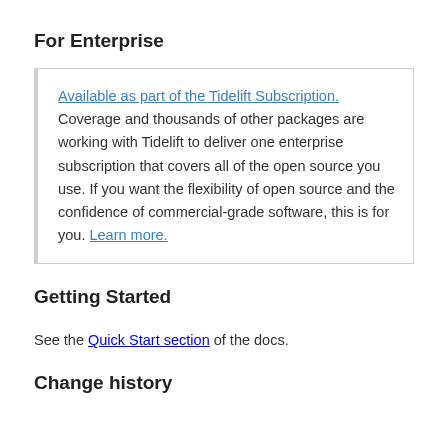For Enterprise
Available as part of the Tidelift Subscription. Coverage and thousands of other packages are working with Tidelift to deliver one enterprise subscription that covers all of the open source you use. If you want the flexibility of open source and the confidence of commercial-grade software, this is for you. Learn more.
Getting Started
See the Quick Start section of the docs.
Change history